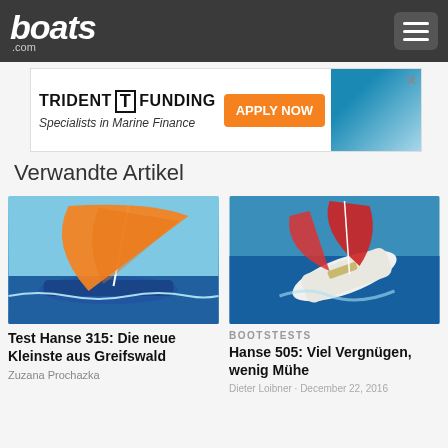boats.com
[Figure (screenshot): Trident Funding advertisement banner — Specialists in Marine Finance with APPLY NOW button and boat image]
Verwandte Artikel
[Figure (photo): Sailboat with large orange spinnaker sail on blue water]
Test Hanse 315: Die neue Kleinste aus Greifswald
Zuzana Prochazka
BOOTSTESTS
[Figure (photo): Aerial view of white Hanse 505 sailboat with red sails on blue water]
Hanse 505: Viel Vergnügen, wenig Mühe
Dieter Loibner · December 22, 2016
Kontaktieren
Anrufen